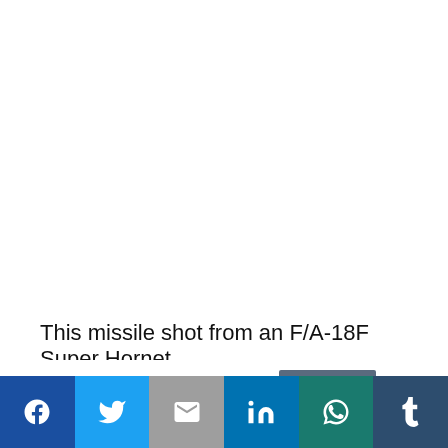[Figure (photo): White/blank area representing a photo or video placeholder (not visible in this crop)]
This missile shot from an F/A-18F Super Hornet
This website uses cookies.
[Figure (other): Social sharing bar with icons: Facebook, Twitter, Email, LinkedIn, WhatsApp, Tumblr]